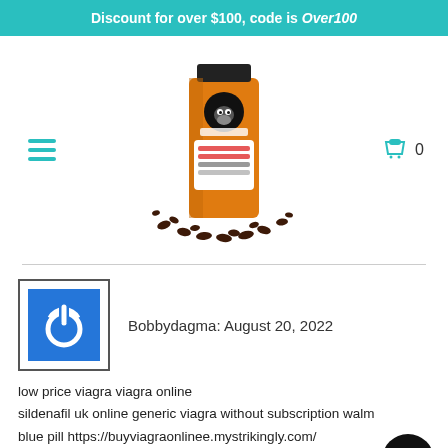Discount for over $100, code is Over100
[Figure (photo): Orange bag of Gorilla Coffee brand with coffee beans scattered at the base, on white background]
Bobbydagma: August 20, 2022
low price viagra viagra online
sildenafil uk online generic viagra without subscription walm
blue pill https://buyviagraonlinee.mystrikingly.com/